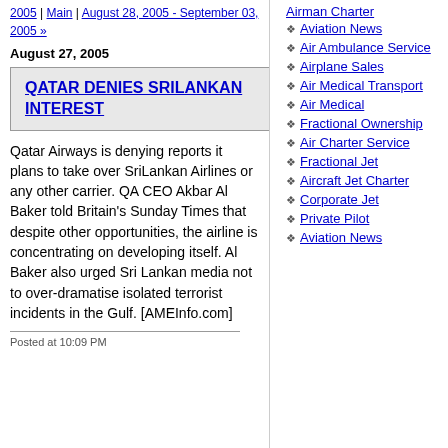2005 | Main | August 28, 2005 - September 03, 2005 »
August 27, 2005
QATAR DENIES SRILANKAN INTEREST
Qatar Airways is denying reports it plans to take over SriLankan Airlines or any other carrier. QA CEO Akbar Al Baker told Britain's Sunday Times that despite other opportunities, the airline is concentrating on developing itself. Al Baker also urged Sri Lankan media not to over-dramatise isolated terrorist incidents in the Gulf. [AMEInfo.com]
Posted at 10:09 PM
Aviation News
Air Ambulance Service
Airplane Sales
Air Medical Transport
Air Medical
Fractional Ownership
Air Charter Service
Fractional Jet
Aircraft Jet Charter
Corporate Jet
Private Pilot
Aviation News